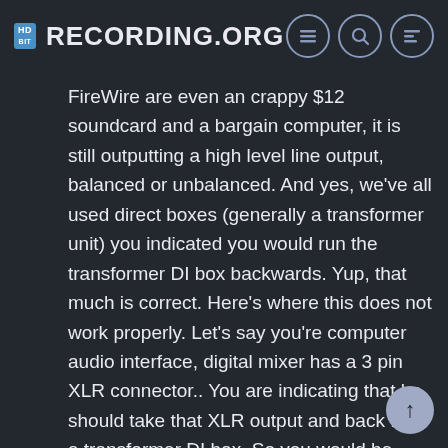Recording.org
FireWire are even an crappy $12 soundcard and a bargain computer, it is still outputting a high level line output, balanced or unbalanced. And yes, we've all used direct boxes (generally a transformer unit) you indicated you would run the transformer DI box backwards. Yup, that much is correct. Here's where this does not work properly. Let's say you're computer audio interface, digital mixer has a 3 pin XLR connector.. You are indicating that he should take that XLR output and back feed a transformer DI box. So you would be going into a DI box XLR connector which would also require a XLR